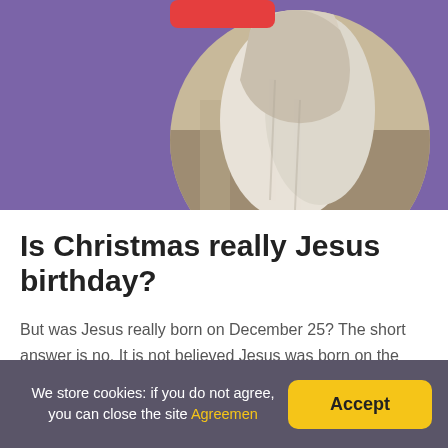[Figure (photo): Purple background with a circular cropped image of a robed figure (Jesus), partially visible, with white robes and stone/wood background. A red element (button or badge) partially visible at top center.]
Is Christmas really Jesus birthday?
But was Jesus really born on December 25? The short answer is no. It is not believed Jesus was born on the day Christmas is globally celebrated. Instead, Christmas was chosen as a convenient celebratory day on the same day of a pagan holiday that celebrated the winter solstice, according to The History Channel.
We store cookies: if you do not agree, you can close the site Agreemen